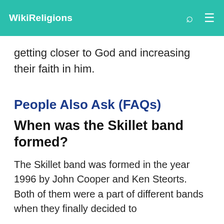WikiReligions
getting closer to God and increasing their faith in him.
People Also Ask (FAQs)
When was the Skillet band formed?
The Skillet band was formed in the year 1996 by John Cooper and Ken Steorts. Both of them were a part of different bands when they finally decided to